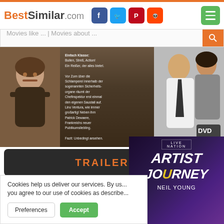BestSimilar.com
Movies like ... | Movies about ...
[Figure (photo): Movie DVD cover image showing actors, with German text overlay and DVD logo]
TRAILER
Genre: Crime, Drama
Country: France
Duration: 91 min.
Story: When political things run...
+ Watchlist
Cookies help us deliver our services. By us... you agree to our use of cookies as describe...
Preferences
Accept
[Figure (photo): Live Nation advertisement for Artist Journey Neil Young concert]